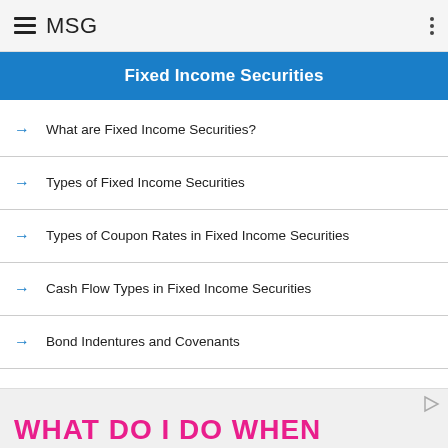MSG
Fixed Income Securities
What are Fixed Income Securities?
Types of Fixed Income Securities
Types of Coupon Rates in Fixed Income Securities
Cash Flow Types in Fixed Income Securities
Bond Indentures and Covenants
Types of Covenants
Common Restrictive Covenants in Fixed Income Securities
Embedded Options in Fixed income Securities
Zero-Coupon Bonds: Pros and Cons
[Figure (other): Advertisement banner at bottom of page showing 'WHAT DO I DO WHEN' in large pink/magenta text]